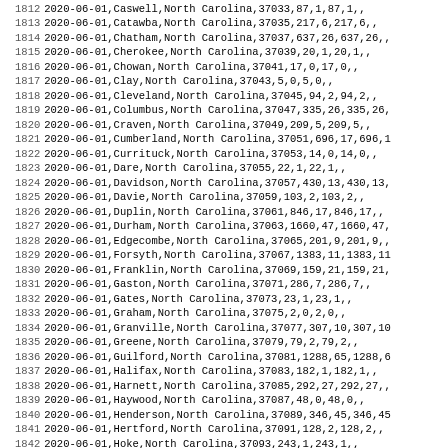| row | date | county | state | fips | cases | deaths | confirmed_cases | confirmed_deaths | probable_cases | probable_deaths |
| --- | --- | --- | --- | --- | --- | --- | --- | --- | --- | --- |
| 1812 | 2020-06-01 | Caswell | North Carolina | 37033 | 87 | 1 | 87 | 1 |  |  |
| 1813 | 2020-06-01 | Catawba | North Carolina | 37035 | 217 | 6 | 217 | 6 |  |  |
| 1814 | 2020-06-01 | Chatham | North Carolina | 37037 | 637 | 26 | 637 | 26 |  |  |
| 1815 | 2020-06-01 | Cherokee | North Carolina | 37039 | 20 | 1 | 20 | 1 |  |  |
| 1816 | 2020-06-01 | Chowan | North Carolina | 37041 | 17 | 0 | 17 | 0 |  |  |
| 1817 | 2020-06-01 | Clay | North Carolina | 37043 | 5 | 0 | 5 | 0 |  |  |
| 1818 | 2020-06-01 | Cleveland | North Carolina | 37045 | 94 | 2 | 94 | 2 |  |  |
| 1819 | 2020-06-01 | Columbus | North Carolina | 37047 | 335 | 26 | 335 | 26 |  |  |
| 1820 | 2020-06-01 | Craven | North Carolina | 37049 | 209 | 5 | 209 | 5 |  |  |
| 1821 | 2020-06-01 | Cumberland | North Carolina | 37051 | 696 | 17 | 696 | 17 |  |  |
| 1822 | 2020-06-01 | Currituck | North Carolina | 37053 | 14 | 0 | 14 | 0 |  |  |
| 1823 | 2020-06-01 | Dare | North Carolina | 37055 | 22 | 1 | 22 | 1 |  |  |
| 1824 | 2020-06-01 | Davidson | North Carolina | 37057 | 430 | 13 | 430 | 13 |  |  |
| 1825 | 2020-06-01 | Davie | North Carolina | 37059 | 103 | 2 | 103 | 2 |  |  |
| 1826 | 2020-06-01 | Duplin | North Carolina | 37061 | 846 | 17 | 846 | 17 |  |  |
| 1827 | 2020-06-01 | Durham | North Carolina | 37063 | 1660 | 47 | 1660 | 47 |  |  |
| 1828 | 2020-06-01 | Edgecombe | North Carolina | 37065 | 201 | 9 | 201 | 9 |  |  |
| 1829 | 2020-06-01 | Forsyth | North Carolina | 37067 | 1383 | 11 | 1383 | 11 |  |  |
| 1830 | 2020-06-01 | Franklin | North Carolina | 37069 | 159 | 21 | 159 | 21 |  |  |
| 1831 | 2020-06-01 | Gaston | North Carolina | 37071 | 286 | 7 | 286 | 7 |  |  |
| 1832 | 2020-06-01 | Gates | North Carolina | 37073 | 23 | 1 | 23 | 1 |  |  |
| 1833 | 2020-06-01 | Graham | North Carolina | 37075 | 2 | 0 | 2 | 0 |  |  |
| 1834 | 2020-06-01 | Granville | North Carolina | 37077 | 307 | 10 | 307 | 10 |  |  |
| 1835 | 2020-06-01 | Greene | North Carolina | 37079 | 79 | 2 | 79 | 2 |  |  |
| 1836 | 2020-06-01 | Guilford | North Carolina | 37081 | 1288 | 65 | 1288 | 65 |  |  |
| 1837 | 2020-06-01 | Halifax | North Carolina | 37083 | 182 | 1 | 182 | 1 |  |  |
| 1838 | 2020-06-01 | Harnett | North Carolina | 37085 | 292 | 27 | 292 | 27 |  |  |
| 1839 | 2020-06-01 | Haywood | North Carolina | 37087 | 48 | 0 | 48 | 0 |  |  |
| 1840 | 2020-06-01 | Henderson | North Carolina | 37089 | 346 | 45 | 346 | 45 |  |  |
| 1841 | 2020-06-01 | Hertford | North Carolina | 37091 | 128 | 2 | 128 | 2 |  |  |
| 1842 | 2020-06-01 | Hoke | North Carolina | 37093 | 243 | 1 | 243 | 1 |  |  |
| 1843 | 2020-06-01 | Hyde | North Carolina | 37095 | 1 | 0 | 1 | 0 |  |  |